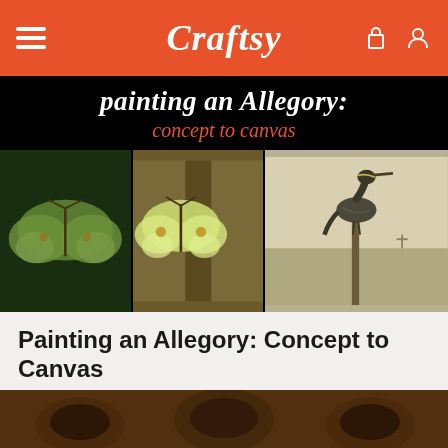Craftsy
[Figure (screenshot): Course banner showing 'painting an Allegory: concept to canvas' title in white and red italic text on black background, with three photos below: a green luna moth on dark foliage, a painted luna moth on wood, and a painted heron bird perched on a post]
Painting an Allegory: Concept to Canvas
Compose stunning allegorical paintings and bring them to life on canvas! Join Martin Wittfooth in the studio for a study in storytelling.
[Figure (photo): Bottom strip showing a dark painting with animal figures]